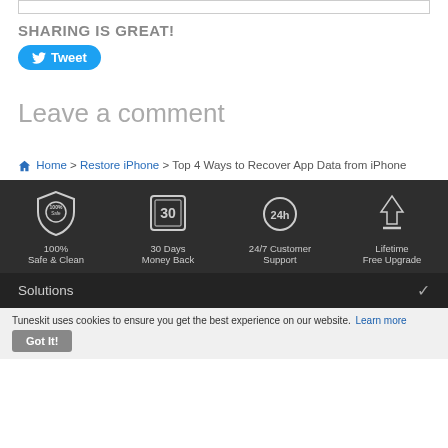SHARING IS GREAT!
[Figure (other): Tweet button with Twitter bird icon]
Leave a comment
Home > Restore iPhone > Top 4 Ways to Recover App Data from iPhone
[Figure (infographic): Four feature icons: 100% Safe & Clean, 30 Days Money Back, 24/7 Customer Support, Lifetime Free Upgrade]
Solutions
Tuneskit uses cookies to ensure you get the best experience on our website. Learn more
Got It!